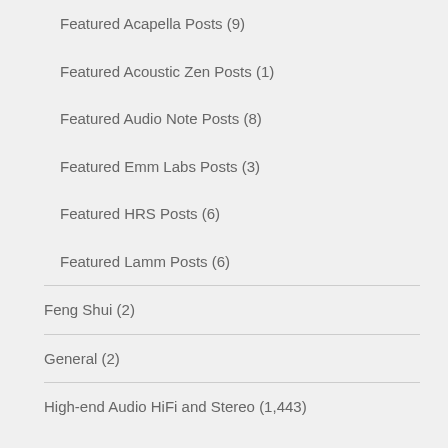Featured Acapella Posts (9)
Featured Acoustic Zen Posts (1)
Featured Audio Note Posts (8)
Featured Emm Labs Posts (3)
Featured HRS Posts (6)
Featured Lamm Posts (6)
Feng Shui (2)
General (2)
High-end Audio HiFi and Stereo (1,443)
Acapella (88)